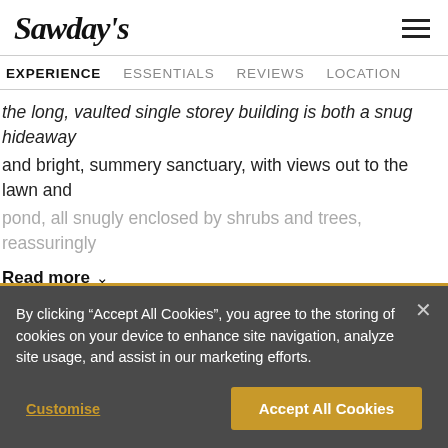Sawday's
EXPERIENCE   ESSENTIALS   REVIEWS   LOCATION
the long, vaulted single storey building is both a snug hideaway and bright, summery sanctuary, with views out to the lawn and pond, all snugly enclosed by shrubs and trees, reassuringly
Read more
Essentials
By clicking "Accept All Cookies", you agree to the storing of cookies on your device to enhance site navigation, analyze site usage, and assist in our marketing efforts.